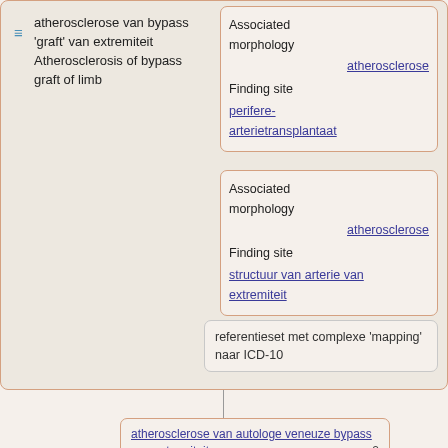atherosclerose van bypass 'graft' van extremiteit
Atherosclerosis of bypass graft of limb
Associated morphology
Finding site
atherosclerose
perifere-arterietransplantaat
Associated morphology
Finding site
atherosclerose
structuur van arterie van extremiteit
referentieset met complexe 'mapping' naar ICD-10
atherosclerose van autologe veneuze bypass van extremiteit  2
atherosclerose van bypasstransplantaat van linker bovenste extremiteit  1
atherosclerose van bypasstransplantaat van onderste extremiteit  5
atherosclerose van bypasstransplantaat van rechter bovenste extremiteit  1
atherosclerose van niet-autoloog bypasstransplantaat van extremiteit  1